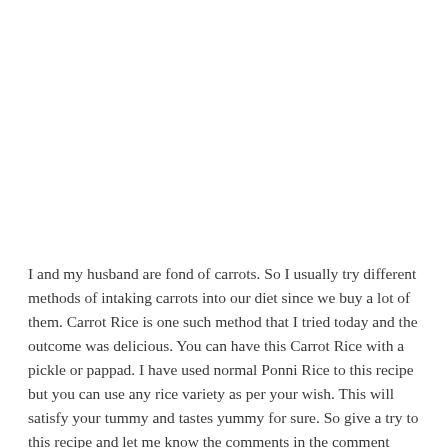I and my husband are fond of carrots. So I usually try different methods of intaking carrots into our diet since we buy a lot of them. Carrot Rice is one such method that I tried today and the outcome was delicious. You can have this Carrot Rice with a pickle or pappad. I have used normal Ponni Rice to this recipe but you can use any rice variety as per your wish. This will satisfy your tummy and tastes yummy for sure. So give a try to this recipe and let me know the comments in the comment section.